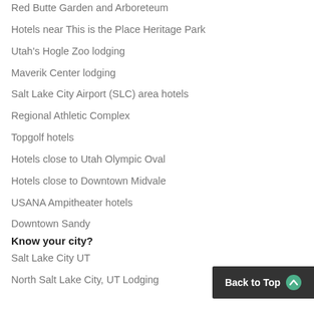Red Butte Garden and Arboreteum
Hotels near This is the Place Heritage Park
Utah's Hogle Zoo lodging
Maverik Center lodging
Salt Lake City Airport (SLC) area hotels
Regional Athletic Complex
Topgolf hotels
Hotels close to Utah Olympic Oval
Hotels close to Downtown Midvale
USANA Ampitheater hotels
Downtown Sandy
Know your city?
Salt Lake City UT
North Salt Lake City, UT Lodging